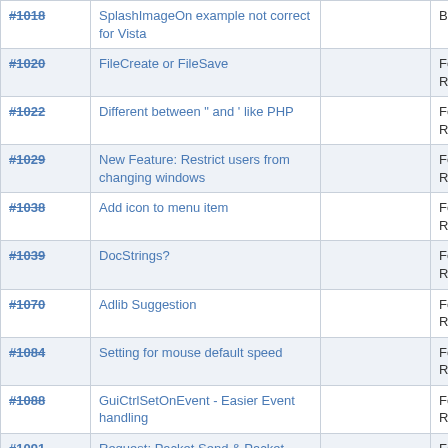|  |  |  |  |  |
| --- | --- | --- | --- | --- |
| #1018 | SplashImageOn example not correct for Vista |  | Bug | Docum |
| #1020 | FileCreate or FileSave |  | Feature Request | AutoIt |
| #1022 | Different between " and ' like PHP |  | Feature Request | AutoIt |
| #1029 | New Feature: Restrict users from changing windows |  | Feature Request | AutoIt |
| #1038 | Add icon to menu item |  | Feature Request | AutoIt |
| #1039 | DocStrings? |  | Feature Request | AutoIt |
| #1070 | Adlib Suggestion |  | Feature Request | AutoIt |
| #1084 | Setting for mouse default speed |  | Feature Request | AutoIt |
| #1088 | GuiCtrlSetOnEvent - Easier Event handling |  | Feature Request | AutoIt |
| #1091 | Request: Packet Send & Packet Catching |  | Feature Request | AutoIt |
| #1096 | MouseMove() Function |  | Feature Request | AutoIt |
| #1097 | Strange behavior with MSXML (COM) |  | Bug | AutoIt |